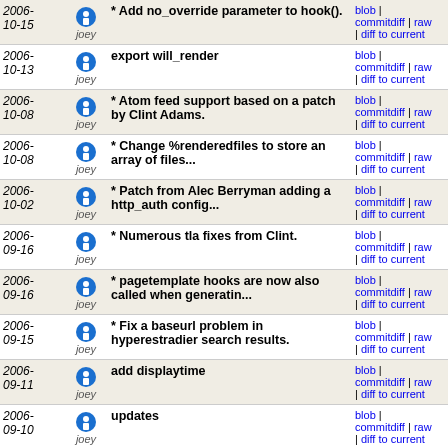| Date | Author | Commit Message | Links |
| --- | --- | --- | --- |
| 2006-10-15 | joey | * Add no_override parameter to hook(). | blob | commitdiff | raw | diff to current |
| 2006-10-13 | joey | export will_render | blob | commitdiff | raw | diff to current |
| 2006-10-08 | joey | * Atom feed support based on a patch by Clint Adams. | blob | commitdiff | raw | diff to current |
| 2006-10-08 | joey | * Change %renderedfiles to store an array of files... | blob | commitdiff | raw | diff to current |
| 2006-10-02 | joey | * Patch from Alec Berryman adding a http_auth config... | blob | commitdiff | raw | diff to current |
| 2006-09-16 | joey | * Numerous tla fixes from Clint. | blob | commitdiff | raw | diff to current |
| 2006-09-16 | joey | * pagetemplate hooks are now also called when generatin... | blob | commitdiff | raw | diff to current |
| 2006-09-15 | joey | * Fix a baseurl problem in hyperestradier search results. | blob | commitdiff | raw | diff to current |
| 2006-09-11 | joey | add displaytime | blob | commitdiff | raw | diff to current |
| 2006-09-10 | joey | updates | blob | commitdiff | raw | diff to current |
| 2006-09-09 | joey | * Add a module version number to IkiWiki, so you can... | blob | commitdiff | raw | diff to current |
| 2006-09-09 | joey | * Work on firming up the plugin interface: | blob | commitdiff | raw | diff to current |
| 2006- | joey | * Patch from James Westby to add a -- | blob | commitdiff | raw |